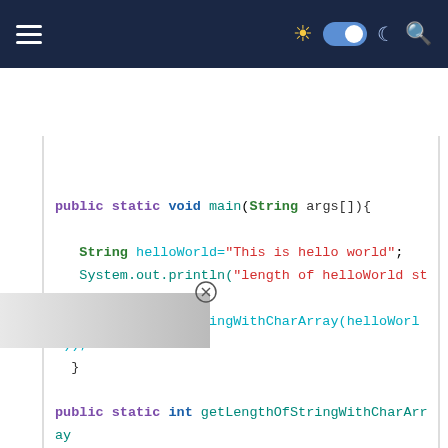Navigation bar with hamburger menu, dark/light toggle, and search icon
[Figure (screenshot): Code editor screenshot showing Java code with syntax highlighting. Dark navy navigation bar at top. Code shows public static void main(String args[]) method with String helloWorld declaration and System.out.println call, followed by public static int getLengthOfStringWithCharArray method signature.]